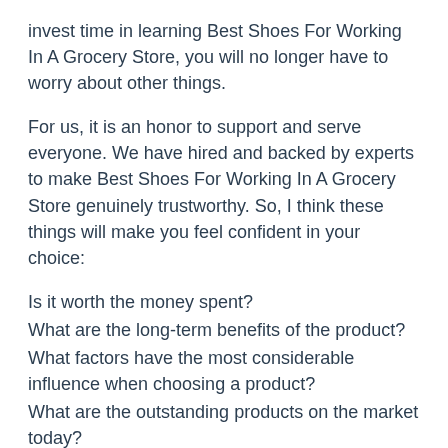invest time in learning Best Shoes For Working In A Grocery Store, you will no longer have to worry about other things.
For us, it is an honor to support and serve everyone. We have hired and backed by experts to make Best Shoes For Working In A Grocery Store genuinely trustworthy. So, I think these things will make you feel confident in your choice:
Is it worth the money spent?
What are the long-term benefits of the product?
What factors have the most considerable influence when choosing a product?
What are the outstanding products on the market today?
Where can I find information about the product at the website address?
You can see many things that influence how to